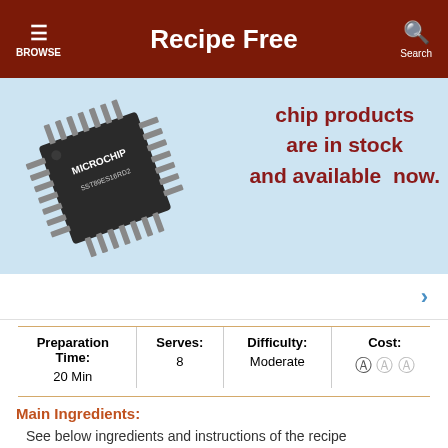Recipe Free
[Figure (infographic): Advertisement banner with a Microchip branded IC chip (SST89E516RD2) on a light blue background with text: chip products are in stock and available now.]
›
| Preparation Time: | Serves: | Difficulty: | Cost: |
| --- | --- | --- | --- |
| 20 Min | 8 | Moderate | € € € |
Main Ingredients:
See below ingredients and instructions of the recipe